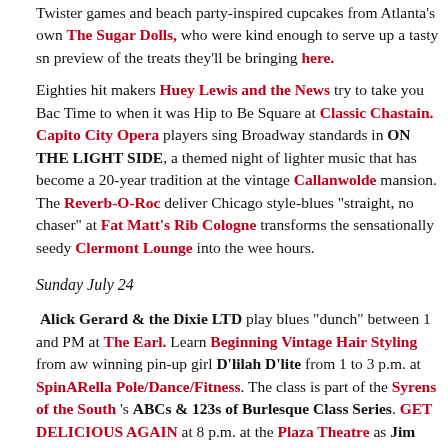Twister games and beach party-inspired cupcakes from Atlanta's own The Sugar Dolls, who were kind enough to serve up a tasty sneak preview of the treats they'll be bringing here.
Eighties hit makers Huey Lewis and the News try to take you Back in Time to when it was Hip to Be Square at Classic Chastain. Capitol City Opera players sing Broadway standards in ON THE LIGHT SIDE, a themed night of lighter music that has become a 20-year tradition at the vintage Callanwolde mansion. The Reverb-O-Roc deliver Chicago style-blues "straight, no chaser" at Fat Matt's Rib Cologne transforms the sensationally seedy Clermont Lounge into the wee hours.
Sunday July 24
Alick Gerard & the Dixie LTD play blues "dunch" between 1 and PM at The Earl. Learn Beginning Vintage Hair Styling from award-winning pin-up girl D'lilah D'lite from 1 to 3 p.m. at SpinARella Pole/Dance/Fitness. The class is part of the Syrens of the South's ABCs & 123s of Burlesque Class Series. GET DELICIOUS AGAIN at 8 p.m. at the Plaza Theatre as Jim Stacy (Palookaville, Starlight Drive-In, AM Gold, Greasepaint, etc.) samples Atlanta's Asian eateries in the latest installment of his unconventional culinary series serving up Atlanta's Hidden